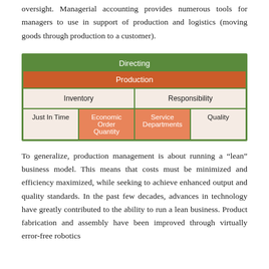oversight. Managerial accounting provides numerous tools for managers to use in support of production and logistics (moving goods through production to a customer).
[Figure (flowchart): Hierarchical diagram showing Directing > Production > two sub-categories: Inventory (with Just In Time and Economic Order Quantity) and Responsibility (with Service Departments and Quality)]
To generalize, production management is about running a "lean" business model. This means that costs must be minimized and efficiency maximized, while seeking to achieve enhanced output and quality standards. In the past few decades, advances in technology have greatly contributed to the ability to run a lean business. Product fabrication and assembly have been improved through virtually error-free robotics